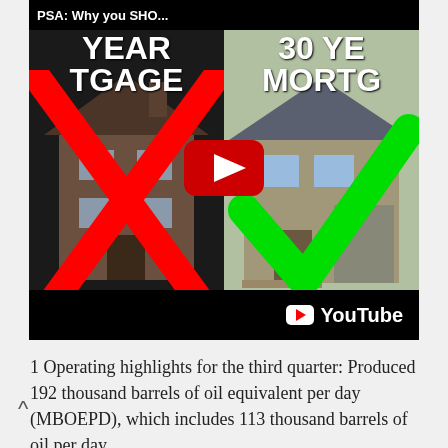[Figure (screenshot): YouTube video thumbnail showing a comparison of 15-year mortgage (with red X over old house) vs 30-year mortgage (with green checkmark over nice house). Title bar reads 'PSA: Why you SHO...' Video play button in center. YouTube logo in bottom right of thumbnail.]
1 Operating highlights for the third quarter: Produced 192 thousand barrels of oil equivalent per day (MBOEPD), which includes 113 thousand barrels of oil per day